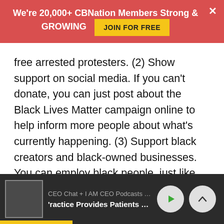We're 20,000+ CBNation Members Strong & GROWING  JOIN FOR FREE
free arrested protesters. (2) Show support on social media. If you can't donate, you can just post about the Black Lives Matter campaign online to help inform more people about what's currently happening. (3) Support black creators and black-owned businesses. You can employ black people, just like what we did, or if you don't own a business, you can support them by buying from them and promoting them. Though we can't be physically present at protests, we can still show support for the Black Lives Matter movement in our own ways. We can all help fight against racism.
The last Martin Speaks Matthew NorBook
CEO Chat + I AM CEO Podcasts  CEO F  'ractice Provides Patients The Lates'